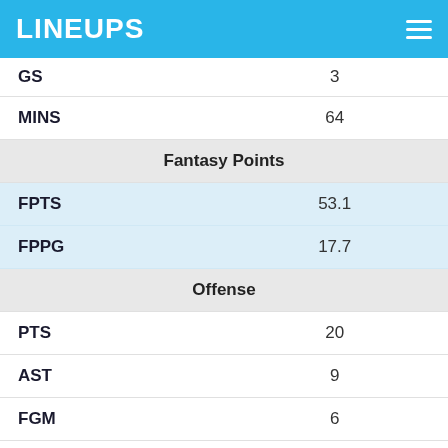LINEUPS
| Stat | Value |
| --- | --- |
| GS | 3 |
| MINS | 64 |
| Fantasy Points |  |
| FPTS | 53.1 |
| FPPG | 17.7 |
| Offense |  |
| PTS | 20 |
| AST | 9 |
| FGM | 6 |
| FGA | 16 |
| FG% | 37.5% |
| 3PM | 2 |
| 3PA | 7 |